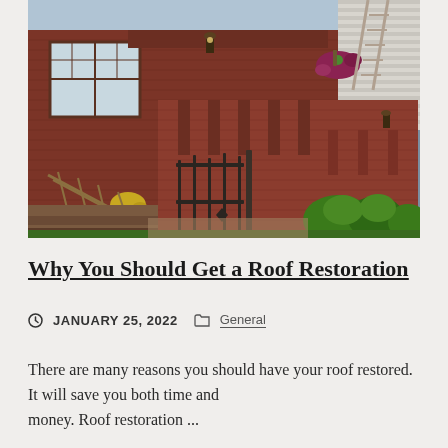[Figure (photo): A brick house exterior with decorative ironwork staircase railing, brick steps, a gate, potted flowers, trimmed green hedges and bushes, and a ladder visible leaning against the roofline in the background.]
Why You Should Get a Roof Restoration
JANUARY 25, 2022   General
There are many reasons you should have your roof restored. It will save you both time and money. Roof restoration ...